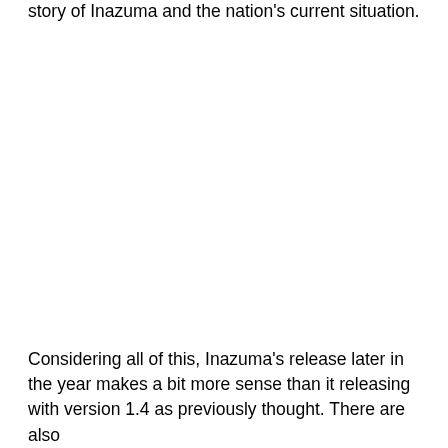story of Inazuma and the nation's current situation.
Considering all of this, Inazuma's release later in the year makes a bit more sense than it releasing with version 1.4 as previously thought. There are also